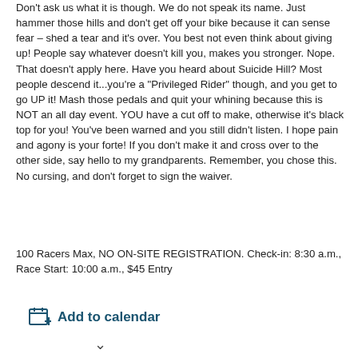Don't ask us what it is though. We do not speak its name. Just hammer those hills and don't get off your bike because it can sense fear – shed a tear and it's over. You best not even think about giving up! People say whatever doesn't kill you, makes you stronger. Nope. That doesn't apply here. Have you heard about Suicide Hill? Most people descend it...you're a "Privileged Rider" though, and you get to go UP it! Mash those pedals and quit your whining because this is NOT an all day event. YOU have a cut off to make, otherwise it's black top for you! You've been warned and you still didn't listen. I hope pain and agony is your forte! If you don't make it and cross over to the other side, say hello to my grandparents. Remember, you chose this. No cursing, and don't forget to sign the waiver.
100 Racers Max, NO ON-SITE REGISTRATION. Check-in: 8:30 a.m., Race Start: 10:00 a.m., $45 Entry
Add to calendar